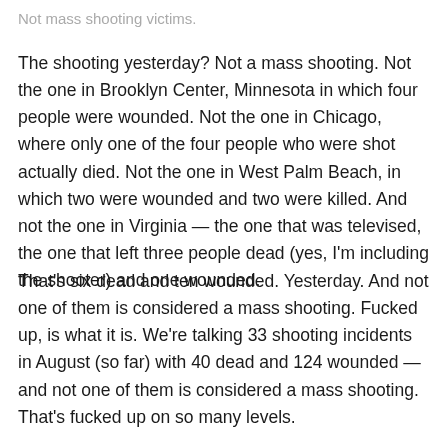Not mass shooting victims.
The shooting yesterday? Not a mass shooting. Not the one in Brooklyn Center, Minnesota in which four people were wounded. Not the one in Chicago, where only one of the four people who were shot actually died. Not the one in West Palm Beach, in which two were wounded and two were killed. And not the one in Virginia — the one that was televised, the one that left three people dead (yes, I'm including the shooter) and one wounded.
That's six dead and ten wounded. Yesterday. And not one of them is considered a mass shooting. Fucked up, is what it is. We're talking 33 shooting incidents in August (so far) with 40 dead and 124 wounded — and not one of them is considered a mass shooting. That's fucked up on so many levels.